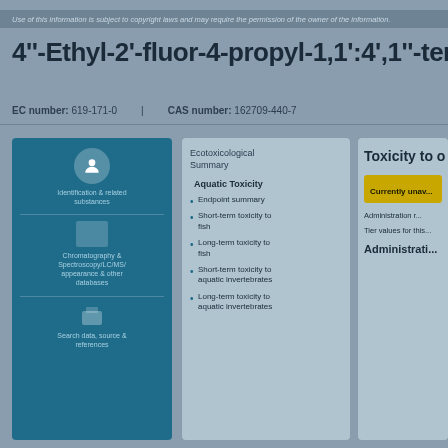Use of this information is subject to copyright laws and may require the permission of the owner of the information.
4''-Ethyl-2'-fluor-4-propyl-1,1':4',1''-terphe
EC number: 619-171-0   CAS number: 162709-440-7
[Figure (infographic): Blue panel with icons for chemical data categories including structure, chromatography & spectroscopy/LC/MS, appearance, search data, source & references]
[Figure (infographic): Middle panel showing Ecotoxicological Summary with Aquatic Toxicity subsection listing: Endpoint summary, Short-term toxicity to fish, Long-term toxicity to fish, Short-term toxicity to aquatic invertebrates, Long-term toxicity to aquatic invertebrates]
[Figure (infographic): Right panel showing Toxicity to o... heading, Currently unavailable button, Administration route items, Tier values for this substance, Additional information section]